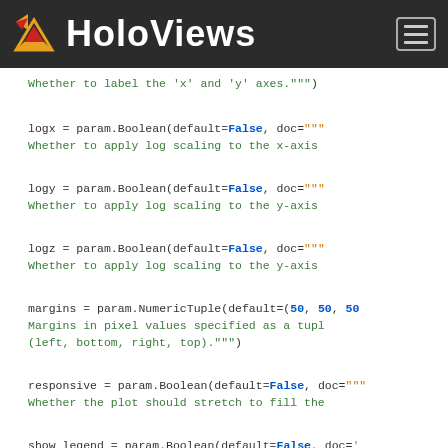HoloViews
Whether to label the 'x' and 'y' axes.""")

logx = param.Boolean(default=False, doc="""
    Whether to apply log scaling to the x-axis

logy  = param.Boolean(default=False, doc="""
    Whether to apply log scaling to the y-axis

logz  = param.Boolean(default=False, doc="""
    Whether to apply log scaling to the y-axis

margins = param.NumericTuple(default=(50, 50, 50
    Margins in pixel values specified as a tuple
    (left, bottom, right, top)."""

responsive = param.Boolean(default=False, doc="""
    Whether the plot should stretch to fill the

show_legend = param.Boolean(default=False, doc='
    Whether to show legend for the plot."""

xaxis = param.ObjectSelector(default='bottom',
    objects=['top', 'bo
    'bottom', b